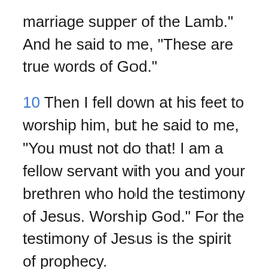marriage supper of the Lamb." And he said to me, "These are true words of God."
10 Then I fell down at his feet to worship him, but he said to me, "You must not do that! I am a fellow servant with you and your brethren who hold the testimony of Jesus. Worship God." For the testimony of Jesus is the spirit of prophecy.
11 Then I saw heaven opened, and behold, a white horse! He who sat upon it is called Faithful and True, and in